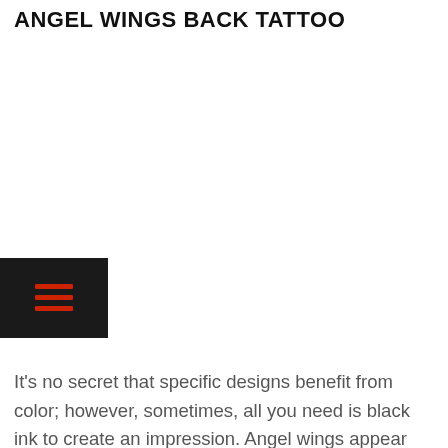ANGEL WINGS BACK TATTOO
[Figure (other): Navigation menu button icon with three red horizontal lines on a dark/black background]
It’s no secret that specific designs benefit from color; however, sometimes, all you need is black ink to create an impression. Angel wings appear more realistic when done in one shade, especially when it’s an extensive and intricate tattoo. If you’re interested in getting